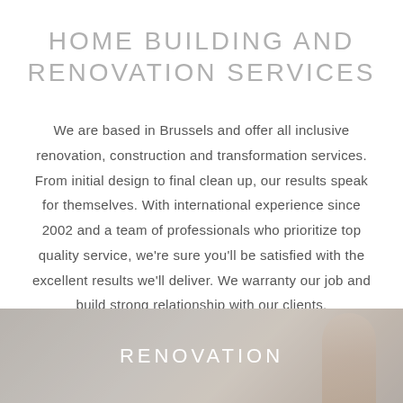HOME BUILDING AND RENOVATION SERVICES
We are based in Brussels and offer all inclusive renovation, construction and transformation services. From initial design to final clean up, our results speak for themselves. With international experience since 2002 and a team of professionals who prioritize top quality service, we're sure you'll be satisfied with the excellent results we'll deliver. We warranty our job and build strong relationship with our clients.
[Figure (photo): Partial view of a renovation scene showing a hand or tool, overlaid with the word RENOVATION in white uppercase letters on a grey-toned background]